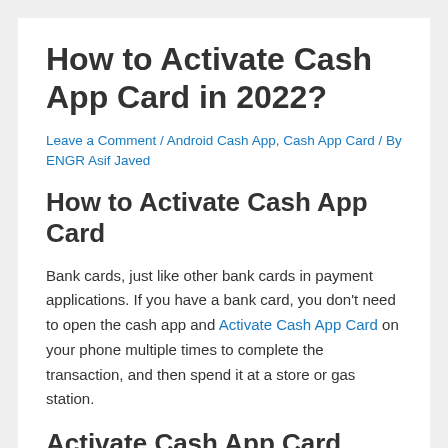How to Activate Cash App Card in 2022?
Leave a Comment / Android Cash App, Cash App Card / By ENGR Asif Javed
How to Activate Cash App Card
Bank cards, just like other bank cards in payment applications. If you have a bank card, you don't need to open the cash app and Activate Cash App Card on your phone multiple times to complete the transaction, and then spend it at a store or gas station.
Activate Cash App Card With QR Code